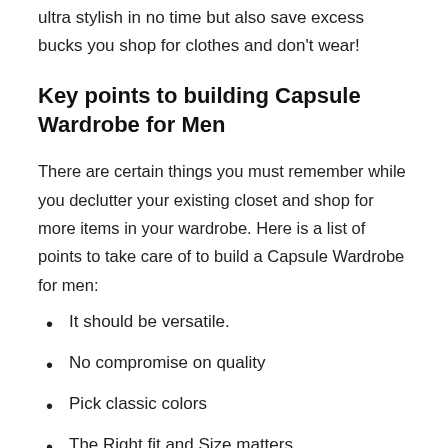ultra stylish in no time but also save excess bucks you shop for clothes and don't wear!
Key points to building Capsule Wardrobe for Men
There are certain things you must remember while you declutter your existing closet and shop for more items in your wardrobe. Here is a list of points to take care of to build a Capsule Wardrobe for men:
It should be versatile.
No compromise on quality
Pick classic colors
The Right fit and Size matters
Invest in good essentials.